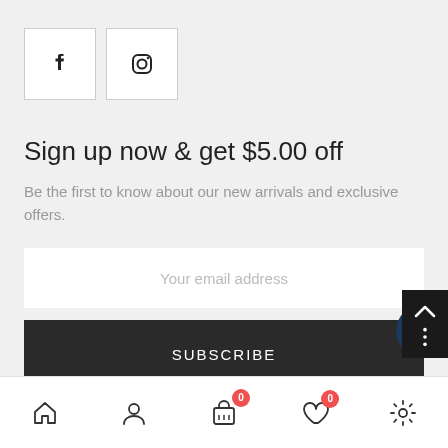[Figure (other): Social media icons: Facebook and Instagram square buttons]
Sign up now & get $5.00 off
Be the first to know about our new arrivals and exclusive offers.
Your email address (input field)
SUBSCRIBE (button)
Bottom navigation bar with home, account, cart (0), wishlist (0), settings icons